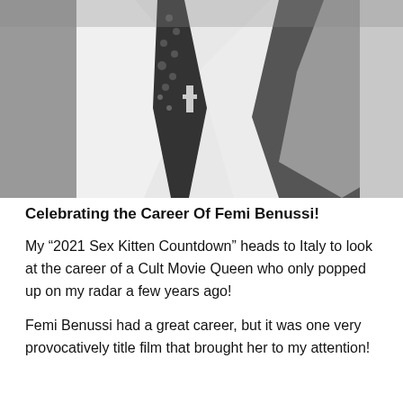[Figure (photo): Black and white photograph showing a person's torso in a white shirt with a patterned necktie and what appears to be a pendant or medal, taken from below the face level.]
Celebrating the Career Of Femi Benussi!
My “2021 Sex Kitten Countdown” heads to Italy to look at the career of a Cult Movie Queen who only popped up on my radar a few years ago!
Femi Benussi had a great career, but it was one very provocatively title film that brought her to my attention!